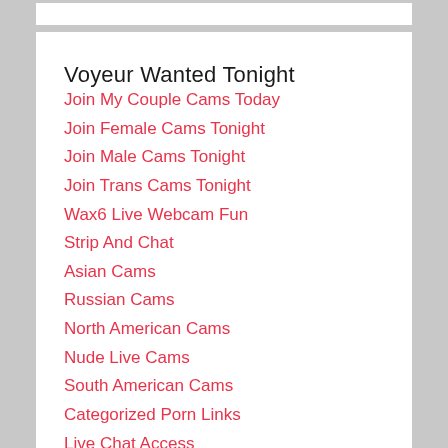Voyeur Wanted Tonight
Join My Couple Cams Today
Join Female Cams Tonight
Join Male Cams Tonight
Join Trans Cams Tonight
Wax6 Live Webcam Fun
Strip And Chat
Asian Cams
Russian Cams
North American Cams
Nude Live Cams
South American Cams
Categorized Porn Links
Live Chat Access